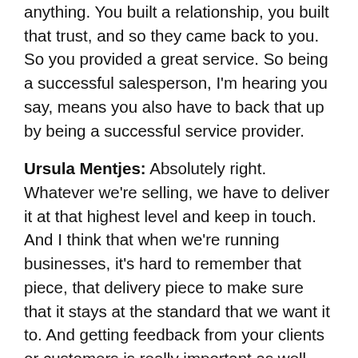anything. You built a relationship, you built that trust, and so they came back to you. So you provided a great service. So being a successful salesperson, I'm hearing you say, means you also have to back that up by being a successful service provider.
Ursula Mentjes: Absolutely right. Whatever we're selling, we have to deliver it at that highest level and keep in touch. And I think that when we're running businesses, it's hard to remember that piece, that delivery piece to make sure that it stays at the standard that we want it to. And getting feedback from your clients or customers is really important as well because they have great ideas on what they might shift. I mean, we're doing that right now for a new program we just launched. And one of the people I have in there is another one of my service providers, but she's actually in the program right now because I want